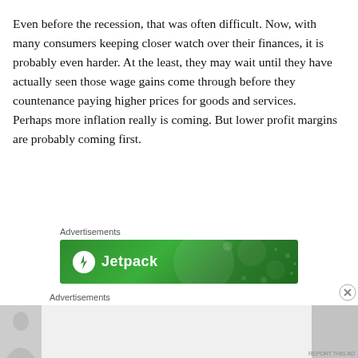Even before the recession, that was often difficult. Now, with many consumers keeping closer watch over their finances, it is probably even harder. At the least, they may wait until they have actually seen those wage gains come through before they countenance paying higher prices for goods and services.
Perhaps more inflation really is coming. But lower profit margins are probably coming first.
Advertisements
[Figure (illustration): Jetpack advertisement banner with green background, lightning bolt icon, and Jetpack text]
Advertisements
[Figure (photo): Partial advertisement with a figure image on the left and a gray placeholder box on the right with 'REPORT THIS AD' text at bottom]